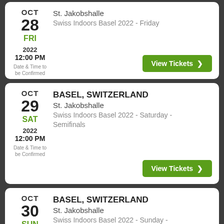OCT 28 FRI 2022 12:00 PM Date & Time to be Confirmed | St. Jakobshalle | Swiss Indoors Basel 2022 - Friday | View Tickets
OCT 29 SAT 2022 12:00 PM Date & Time to be Confirmed | BASEL, SWITZERLAND | St. Jakobshalle | Swiss Indoors Basel 2022 - Saturday - Semifinals | View Tickets
OCT 30 SUN | BASEL, SWITZERLAND | St. Jakobshalle | Swiss Indoors Basel 2022 - Sunday - Finals